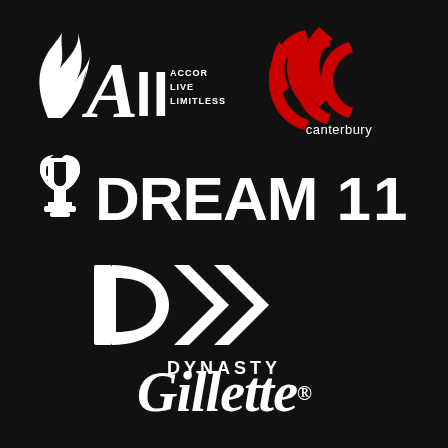[Figure (logo): ALL - Accor Live Limitless logo in white on black background]
[Figure (logo): Canterbury of New Zealand logo with red CCC triple chevron mark and white 'canterbury' text]
[Figure (logo): Dream11 logo with trophy icon and bold white text 'DREAM 11' on black background]
[Figure (logo): Dynasty logo with stylized D chevron mark and white 'DYNASTY' text on black background]
[Figure (logo): Gillette logo in white italic script with registered trademark symbol on black background]